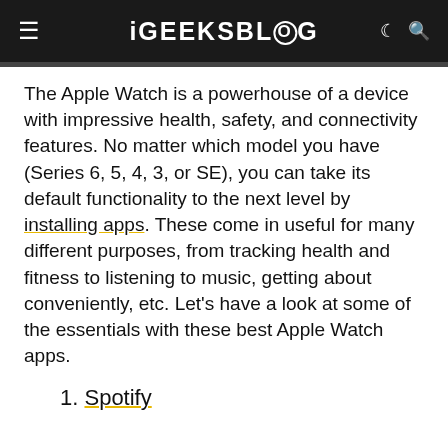iGEEKSBLOG
The Apple Watch is a powerhouse of a device with impressive health, safety, and connectivity features. No matter which model you have (Series 6, 5, 4, 3, or SE), you can take its default functionality to the next level by installing apps. These come in useful for many different purposes, from tracking health and fitness to listening to music, getting about conveniently, etc. Let’s have a look at some of the essentials with these best Apple Watch apps.
1. Spotify